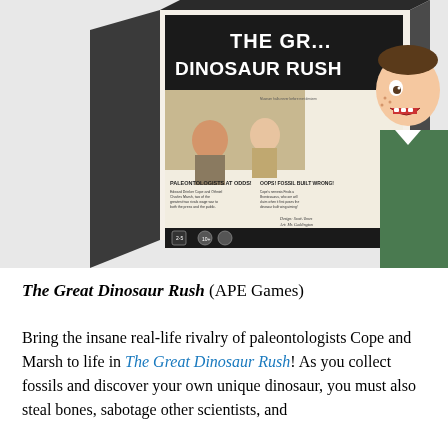[Figure (photo): Photo of The Great Dinosaur Rush board game box, angled view showing the front and side panels. The front features illustrated paleontologists, a large dinosaur skull, headlines reading 'PALEONTOLOGISTS AT ODDS!' and 'OOPS! FOSSIL BUILT WRONG!', and game info icons. A cartoon boy character appears on the right side.]
The Great Dinosaur Rush (APE Games)
Bring the insane real-life rivalry of paleontologists Cope and Marsh to life in The Great Dinosaur Rush! As you collect fossils and discover your own unique dinosaur, you must also steal bones, sabotage other scientists, and